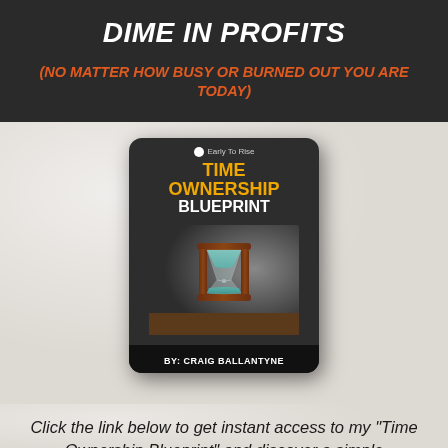DIME IN PROFITS
(NO MATTER HOW BUSY OR BURNED OUT YOU ARE TODAY)
[Figure (illustration): Book cover for 'Time Ownership Blueprint' by Craig Ballantyne, published by Early To Rise. Dark background with gold and white title text, featuring an hourglass image.]
Click the link below to get instant access to my "Time Ownership Blueprint" and discover a simple